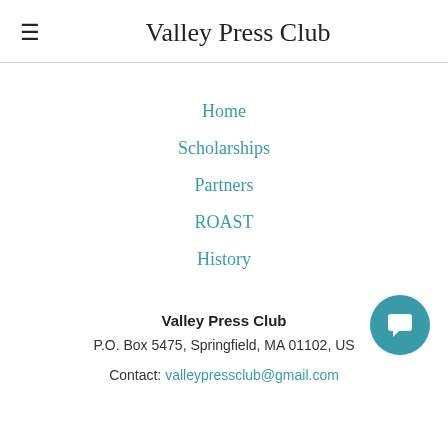Valley Press Club
Home
Scholarships
Partners
ROAST
History
Valley Press Club
P.O. Box 5475, Springfield, MA 01102, US
Contact: valleypressclub@gmail.com